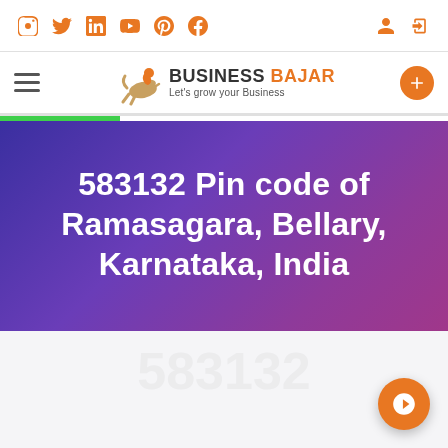Social icons: Instagram, Twitter, LinkedIn, YouTube, Pinterest, Facebook | User/Login icons
[Figure (logo): Business Bajar logo with horse-rider illustration. Text: BUSINESS BAJAR / Let's grow your Business]
583132 Pin code of Ramasagara, Bellary, Karnataka, India
[Figure (other): Light grey content area with faint watermark text and orange floating action button with rocket icon]